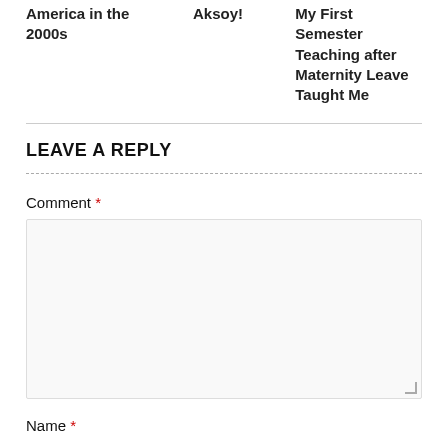America in the 2000s
Aksoy!
My First Semester Teaching after Maternity Leave Taught Me
LEAVE A REPLY
Comment *
Name *